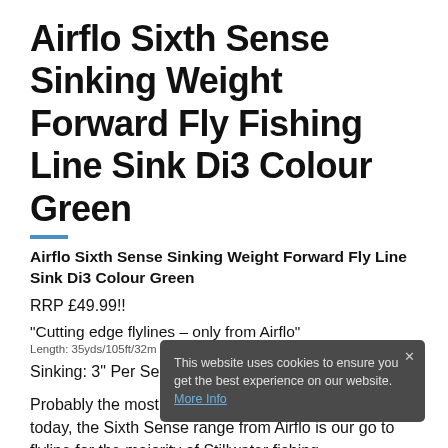Airflo Sixth Sense Sinking Weight Forward Fly Fishing Line Sink Di3 Colour Green
Airflo Sixth Sense Sinking Weight Forward Fly Line Sink Di3 Colour Green
RRP £49.99!!
“Cutting edge flylines – only from Airflo”
Length: 35yds/105ft/32m
Sinking: 3” Per Second
Probably the most popular range of flylines in the UK today, the Sixth Sense range from Airflo is our go to flyline for the majority of Stillwater fishing.